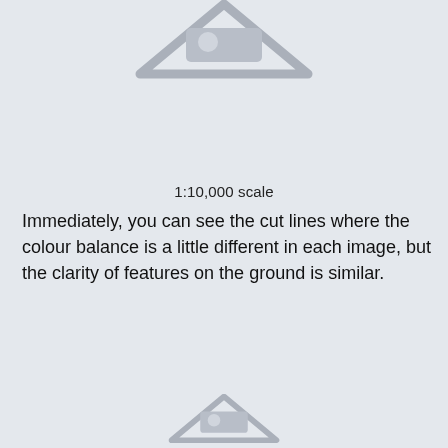[Figure (illustration): Placeholder image icon (triangle with image symbol) partially visible at top of page]
1:10,000 scale
Immediately, you can see the cut lines where the colour balance is a little different in each image, but the clarity of features on the ground is similar.
[Figure (illustration): Placeholder image icon (triangle with image symbol) partially visible at bottom of page]